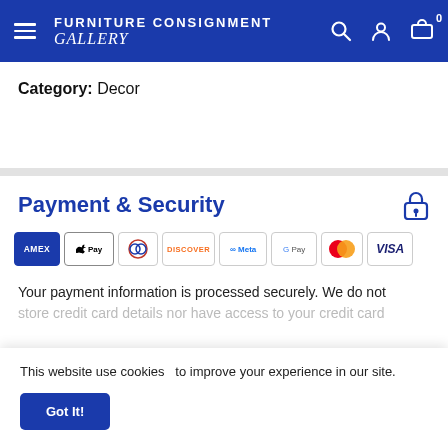Furniture Consignment Gallery
Category: Decor
Payment & Security
[Figure (logo): Payment method logos: AMEX, Apple Pay, Diners Club, Discover, Meta Pay, Google Pay, Mastercard, Visa]
Your payment information is processed securely. We do not store credit card details nor have access to your credit card
This website use cookies   to improve your experience in our site.